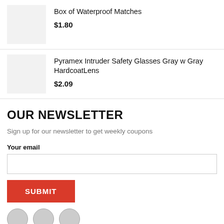[Figure (photo): Product thumbnail placeholder (gray box) for Box of Waterproof Matches]
Box of Waterproof Matches
$1.80
[Figure (photo): Product thumbnail placeholder (gray box) for Pyramex Intruder Safety Glasses Gray w Gray HardcoatLens]
Pyramex Intruder Safety Glasses Gray w Gray HardcoatLens
$2.09
OUR NEWSLETTER
Sign up for our newsletter to get weekly coupons
Your email
SUBMIT
[Figure (illustration): Three partially visible social media icon circles at the bottom of the page]